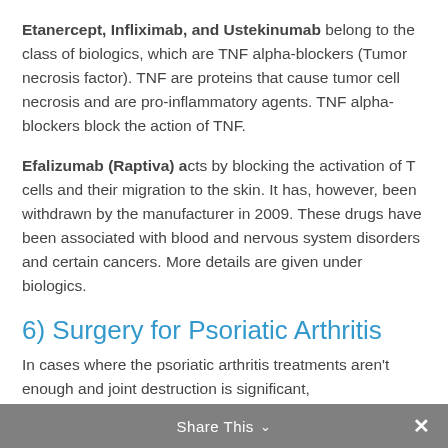Etanercept, Infliximab, and Ustekinumab belong to the class of biologics, which are TNF alpha-blockers (Tumor necrosis factor). TNF are proteins that cause tumor cell necrosis and are pro-inflammatory agents. TNF alpha-blockers block the action of TNF.
Efalizumab (Raptiva) acts by blocking the activation of T cells and their migration to the skin. It has, however, been withdrawn by the manufacturer in 2009. These drugs have been associated with blood and nervous system disorders and certain cancers. More details are given under biologics.
6) Surgery for Psoriatic Arthritis
In cases where the psoriatic arthritis treatments aren't enough and joint destruction is significant,